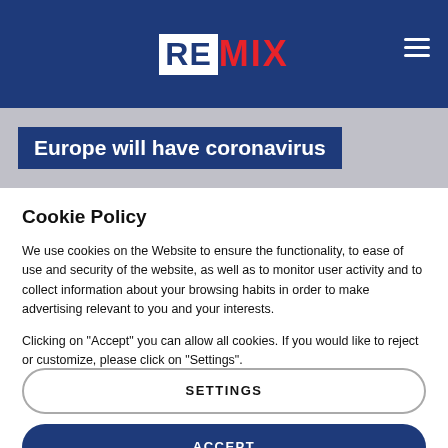REMIX
Europe will have coronavirus
Cookie Policy
We use cookies on the Website to ensure the functionality, to ease of use and security of the website, as well as to monitor user activity and to collect information about your browsing habits in order to make advertising relevant to you and your interests.
Clicking on "Accept" you can allow all cookies. If you would like to reject or customize, please click on "Settings".
Read more: Cookie Policy
SETTINGS
ACCEPT